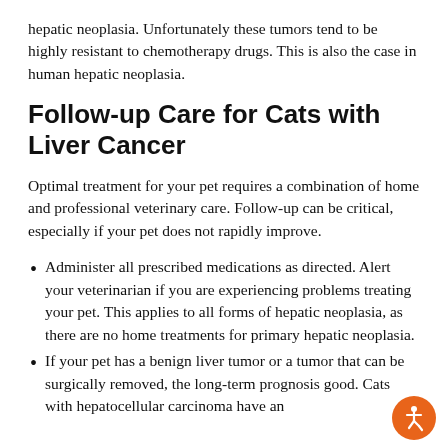hepatic neoplasia. Unfortunately these tumors tend to be highly resistant to chemotherapy drugs. This is also the case in human hepatic neoplasia.
Follow-up Care for Cats with Liver Cancer
Optimal treatment for your pet requires a combination of home and professional veterinary care. Follow-up can be critical, especially if your pet does not rapidly improve.
Administer all prescribed medications as directed. Alert your veterinarian if you are experiencing problems treating your pet. This applies to all forms of hepatic neoplasia, as there are no home treatments for primary hepatic neoplasia.
If your pet has a benign liver tumor or a tumor that can be surgically removed, the long-term prognosis good. Cats with hepatocellular carcinoma have an